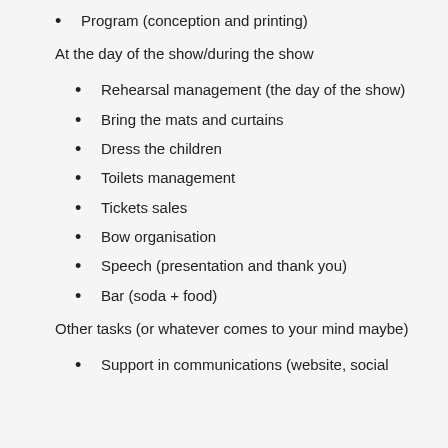Program (conception and printing)
At the day of the show/during the show
Rehearsal management (the day of the show)
Bring the mats and curtains
Dress the children
Toilets management
Tickets sales
Bow organisation
Speech (presentation and thank you)
Bar (soda + food)
Other tasks (or whatever comes to your mind maybe)
Support in communications (website, social